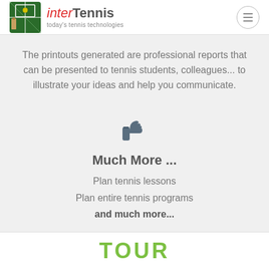interTennis today's tennis technologies
The printouts generated are professional reports that can be presented to tennis students, colleagues... to illustrate your ideas and help you communicate.
[Figure (illustration): Thumbs up icon in dark gray/slate color]
Much More ...
Plan tennis lessons
Plan entire tennis programs
and much more...
TOUR